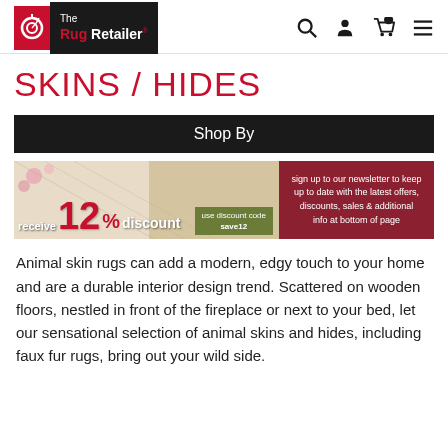[Figure (logo): The Rug Retailer logo: red square with white spiral icon, black rectangle with 'The Rug Retailer' text in white and red]
[Figure (infographic): Promotional banner: 'receive 12% discount, use discount code save12' on left with rug background image, right side dark red with newsletter sign-up text]
SKINS / HIDES
Shop By
Animal skin rugs can add a modern, edgy touch to your home and are a durable interior design trend. Scattered on wooden floors, nestled in front of the fireplace or next to your bed, let our sensational selection of animal skins and hides, including faux fur rugs, bring out your wild side.